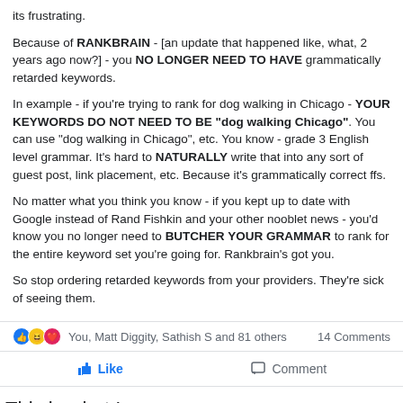its frustrating.
Because of RANKBRAIN - [an update that happened like, what, 2 years ago now?] - you NO LONGER NEED TO HAVE grammatically retarded keywords.
In example - if you're trying to rank for dog walking in Chicago - YOUR KEYWORDS DO NOT NEED TO BE "dog walking Chicago". You can use "dog walking in Chicago", etc. You know - grade 3 English level grammar. It's hard to NATURALLY write that into any sort of guest post, link placement, etc. Because it's grammatically correct ffs.
No matter what you think you know - if you kept up to date with Google instead of Rand Fishkin and your other nooblet news - you'd know you no longer need to BUTCHER YOUR GRAMMAR to rank for the entire keyword set you're going for. Rankbrain's got you.
So stop ordering retarded keywords from your providers. They're sick of seeing them.
You, Matt Diggity, Sathish S and 81 others   14 Comments
Like   Comment
This is what I mean.
I use both Keysearch.co and Ahrefs for keyword research.